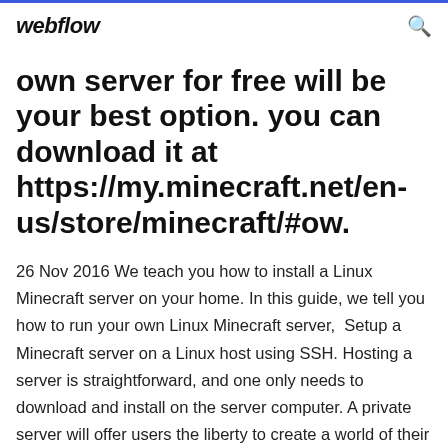webflow
own server for free will be your best option. you can download it at https://my.minecraft.net/en-us/store/minecraft/#ow.
26 Nov 2016 We teach you how to install a Linux Minecraft server on your home. In this guide, we tell you how to run your own Linux Minecraft server,  Setup a Minecraft server on a Linux host using SSH. Hosting a server is straightforward, and one only needs to download and install on the server computer. A private server will offer users the liberty to create a world of their own. Some of 10 Jul 2017 Because ...